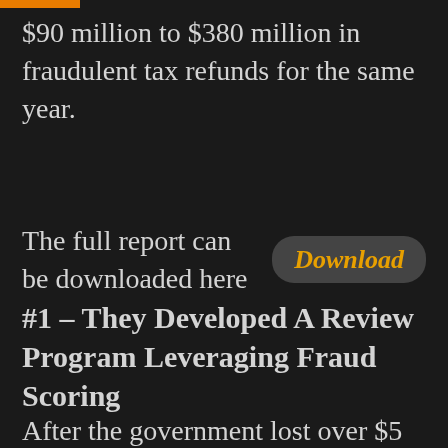$90 million to $380 million in fraudulent tax refunds for the same year.
The full report can be downloaded here  Download
#1 – They Developed A Review Program Leveraging Fraud Scoring
After the government lost over $5